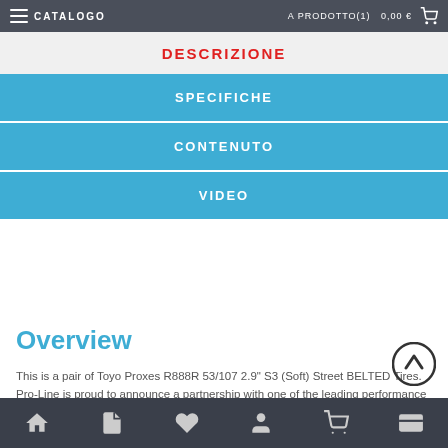CATALOGO  A PRODOTTO(1)  0,00€
DESCRIZIONE
SPECIFICHE
CONTENUTO
VIDEO
Overview
This is a pair of Toyo Proxes R888R 53/107 2.9" S3 (Soft) Street BELTED Tires. Pro-Line is proud to announce a partnership with one of the leading performance tire manufacturers – Toyo Tires! This collaboration begins with our first tire for the popular ARRMA® 1/7 Street Bash line of vehicles – the Toyo Proxes R888R.
All the details from the full-size high-performance competition tire have been recreated to give your Infraction™ or Limitless™ the ultimate in scale looks, street